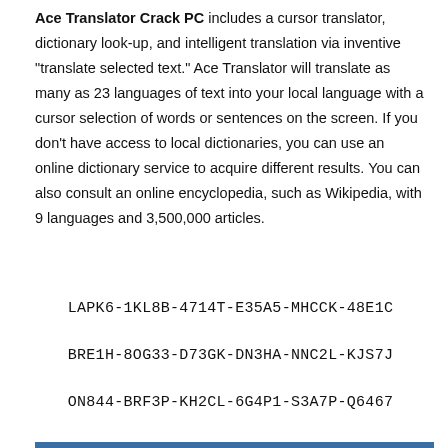Ace Translator Crack PC includes a cursor translator, dictionary look-up, and intelligent translation via inventive “translate selected text.” Ace Translator will translate as many as 23 languages of text into your local language with a cursor selection of words or sentences on the screen. If you don’t have access to local dictionaries, you can use an online dictionary service to acquire different results. You can also consult an online encyclopedia, such as Wikipedia, with 9 languages and 3,500,000 articles.
LAPK6-1KL8B-4714T-E35A5-MHCCK-48E1C
BRE1H-8OG33-D73GK-DN3HA-NNC2L-KJS7J
ON844-BRF3P-KH2CL-6G4P1-S3A7P-Q6467
[Figure (screenshot): Screenshot of Ace Translator 12.6 application window showing 'How are you?' text in the translation field]